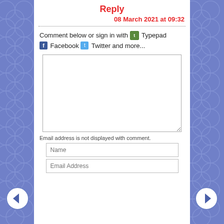Reply
08 March 2021 at 09:32
Comment below or sign in with Typepad Facebook Twitter and more...
Email address is not displayed with comment.
Name
Email Address